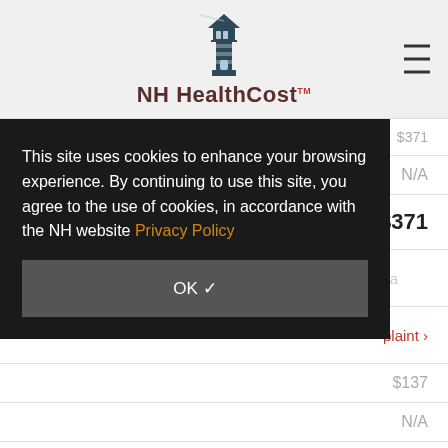NH HealthCost
| Label | Value |
| --- | --- |
| Estimate of Procedure Cost: | $371 |
| Number of Visits: | N/A |
| What You Will Pay: | $371 |
This site uses cookies to enhance your browsing experience. By continuing to use this site, you agree to the use of cookies, in accordance with the NH website Privacy Policy
| Label | Value |
| --- | --- |
| Estimate of Procedure Cost: | $137 |
| Number of Visits: | N/A |
| What You Will Pay: | $137 |